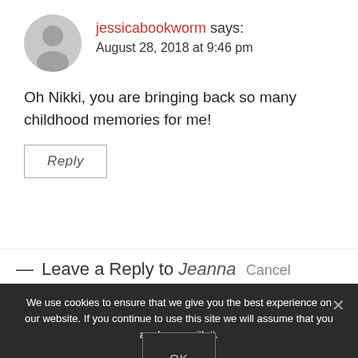[Figure (illustration): Gray circular avatar icon with silhouette of a person]
jessicabookworm says: August 28, 2018 at 9:46 pm
Oh Nikki, you are bringing back so many childhood memories for me!
Reply
— Leave a Reply to Jeanna Cancel
We use cookies to ensure that we give you the best experience on our website. If you continue to use this site we will assume that you are happy with it.
OK